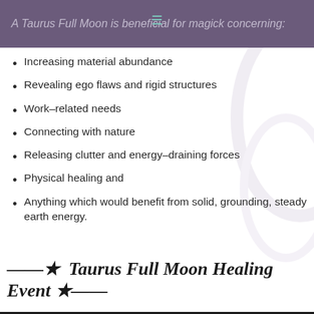A Taurus Full Moon is beneficial for magick concerning:
Increasing material abundance
Revealing ego flaws and rigid structures
Work–related needs
Connecting with nature
Releasing clutter and energy–draining forces
Physical healing and
Anything which would benefit from solid, grounding, steady earth energy.
—=★  Taurus Full Moon Healing Event ★=—